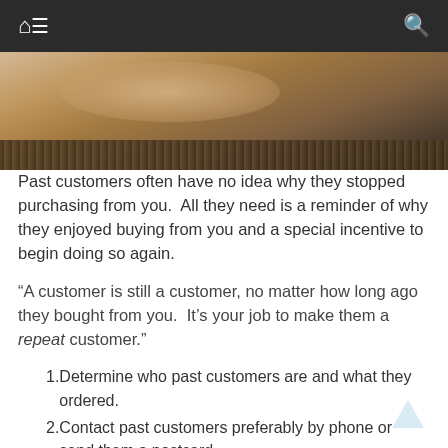Navigation bar with home, menu, and search icons
[Figure (photo): Close-up photo of a person wearing a knitted/cable-knit sweater, cropped to show torso and lower face, warm brown tones]
Past customers often have no idea why they stopped purchasing from you.  All they need is a reminder of why they enjoyed buying from you and a special incentive to begin doing so again.
“A customer is still a customer, no matter how long ago they bought from you.  It’s your job to make them a repeat customer.”
Determine who past customers are and what they ordered.
Contact past customers preferably by phone or send them a postcard.
Ask them why they are not ordering anymore.